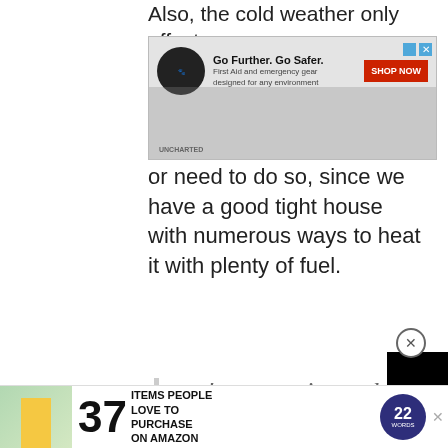Also, the cold weather only affects or need to do so, since we have a good tight house with numerous ways to heat it with plenty of fuel.
[Figure (screenshot): Advertisement banner: Go Further. Go Safer. First Aid and emergency gear designed for any environment. SHOP NOW button. Uncharted Supply Co logo.]
you're not going to be free to have a garden. Even a dog is out of question, since it will just tell people where you are.
[Figure (screenshot): Black video overlay box covering part of the italic quote text, with a CLOSE button.]
[Figure (screenshot): Bottom advertisement: 37 ITEMS PEOPLE LOVE TO PURCHASE ON AMAZON. 22 Words badge.]